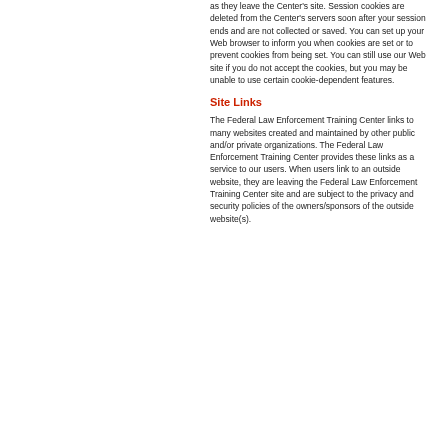as they leave the Center's site. Session cookies are deleted from the Center's servers soon after your session ends and are not collected or saved. You can set up your Web browser to inform you when cookies are set or to prevent cookies from being set. You can still use our Web site if you do not accept the cookies, but you may be unable to use certain cookie-dependent features.
Site Links
The Federal Law Enforcement Training Center links to many websites created and maintained by other public and/or private organizations. The Federal Law Enforcement Training Center provides these links as a service to our users. When users link to an outside website, they are leaving the Federal Law Enforcement Training Center site and are subject to the privacy and security policies of the owners/sponsors of the outside website(s).